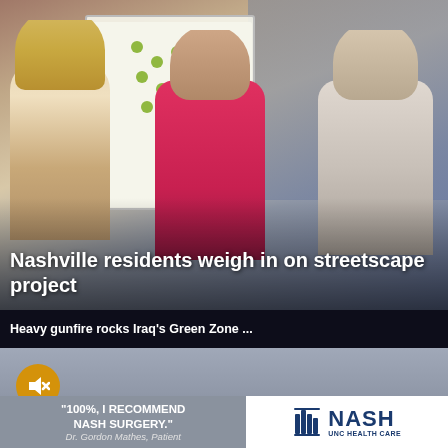[Figure (photo): Photo of people examining a streetscape design poster/whiteboard. A woman with blonde hair and a man in a pink shirt point at a large planning chart with sticky notes. Another man in a gray shirt looks on.]
Nashville residents weigh in on streetscape project
[Figure (screenshot): A news notification bar showing 'Heavy gunfire rocks Iraq's Green Zone ...' with a close (X) button, overlaid on a video panel. The video shows 'HEAVY GUNFIRE ROCKS IRAQ'S' in yellow and 'GREEN ZONE AMID VIOLENT PROTESTS' in white bold text. A muted speaker icon is visible in a yellow circle.]
wsuit against city on
17 hrs ago
A former Rocky Mount police captain's lawsuit claiming he was not hired to be the top cop
[Figure (photo): Advertisement banner: Left side shows gray background with text '"100%, I RECOMMEND NASH SURGERY." Dr. Gordon Mathes, Patient'. Right side shows Nash UNC Health Care logo.]